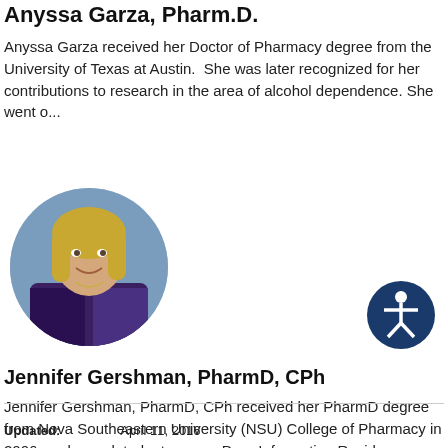Anyssa Garza, Pharm.D.
Anyssa Garza received her Doctor of Pharmacy degree from the University of Texas at Austin.  She was later recognized for her contributions to research in the area of alcohol dependence. She went o...
[Figure (photo): Circular headshot photo of a woman with long blonde hair, smiling, wearing a patterned top with a necklace, against a blue background.]
[Figure (logo): Accessibility icon: white stick figure in a circle outline, on a dark navy blue filled circle background.]
Jennifer Gershman, PharmD, CPh
Jennifer Gershman, PharmD, CPh received her PharmD degree from Nova Southeastern University (NSU) College of Pharmacy in 2006, and completed a two year Drug Information Residency.
Updated:    April 11, 2016